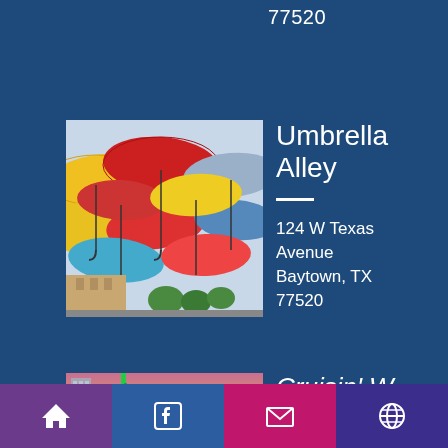77520
[Figure (photo): Colorful umbrellas hanging overhead in Umbrella Alley, shot from below showing red, yellow, blue, and other colored umbrellas against the sky]
Umbrella Alley
124 W Texas Avenue Baytown, TX 77520
[Figure (photo): Street sign or neon sign reading 'w. TEXAS Ave' with colorful sky and building in background]
Cruisin' W. Texas Avenue
Home | Facebook | Mail | Web